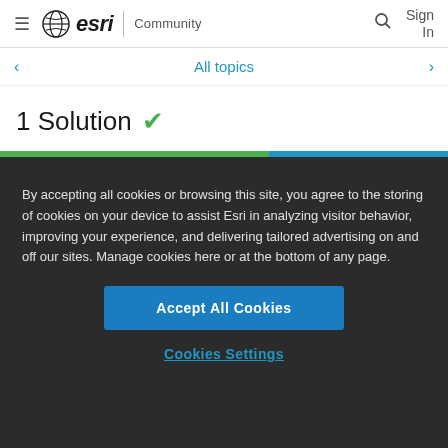esri Community
All topics
1 Solution ✓
By accepting all cookies or browsing this site, you agree to the storing of cookies on your device to assist Esri in analyzing visitor behavior, improving your experience, and delivering tailored advertising on and off our sites. Manage cookies here or at the bottom of any page.
Accept All Cookies
Cookies Settings